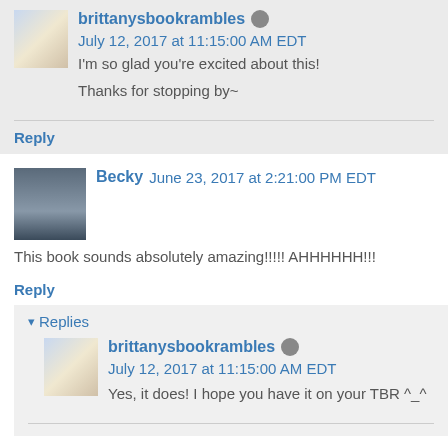brittanysbookrambles July 12, 2017 at 11:15:00 AM EDT
I'm so glad you're excited about this!
Thanks for stopping by~
Reply
Becky June 23, 2017 at 2:21:00 PM EDT
This book sounds absolutely amazing!!!!! AHHHHHH!!!
Reply
▾ Replies
brittanysbookrambles July 12, 2017 at 11:15:00 AM EDT
Yes, it does! I hope you have it on your TBR ^_^